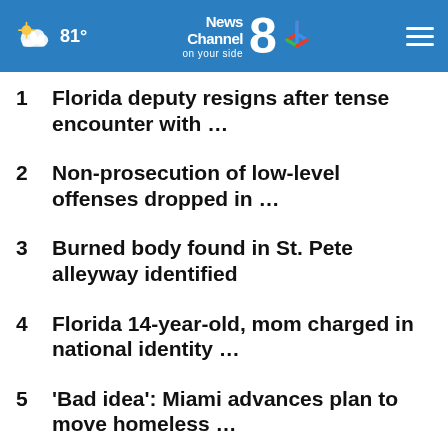81° News Channel 8 on your side
1  Florida deputy resigns after tense encounter with …
2  Non-prosecution of low-level offenses dropped in …
3  Burned body found in St. Pete alleyway identified
4  Florida 14-year-old, mom charged in national identity …
5  'Bad idea': Miami advances plan to move homeless …
6  Former Jaguars, Gators coach Urban Meyer returns …
7  Python with transmitter eaten by …